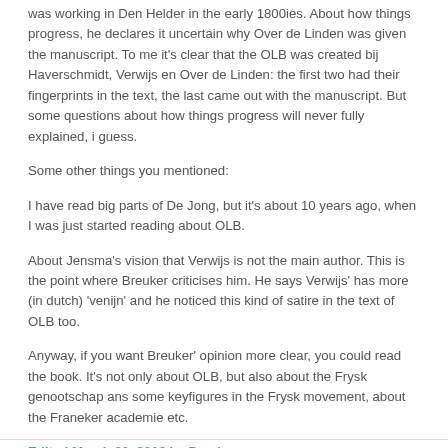was working in Den Helder in the early 1800ies. About how things progress, he declares it uncertain why Over de Linden was given the manuscript. To me it's clear that the OLB was created bij Haverschmidt, Verwijs en Over de Linden: the first two had their fingerprints in the text, the last came out with the manuscript. But some questions about how things progress will never fully explained, i guess.
Some other things you mentioned:
I have read big parts of De Jong, but it's about 10 years ago, when I was just started reading about OLB.
About Jensma's vision that Verwijs is not the main author. This is the point where Breuker criticises him. He says Verwijs' has more (in dutch) 'venijn' and he noticed this kind of satire in the text of OLB too.
Anyway, if you want Breuker' opinion more clear, you could read the book. It's not only about OLB, but also about the Frysk genootschap ans some keyfigures in the Frysk movement, about the Franeker academie etc.
Edited March 20, 2016 by Demiurg